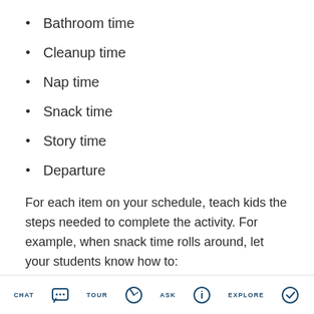Bathroom time
Cleanup time
Nap time
Snack time
Story time
Departure
For each item on your schedule, teach kids the steps needed to complete the activity. For example, when snack time rolls around, let your students know how to:
CHAT  TOUR  ASK  EXPLORE